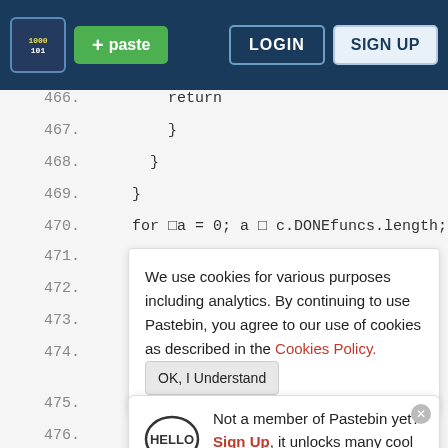+ paste  LOGIN  SIGN UP
466.        return
467.        }
468.      }
469.    }
470.    for □a = 0; a □ c.DONEfuncs.length; a ++ □{
We use cookies for various purposes including analytics. By continuing to use Pastebin, you agree to our use of cookies as described in the Cookies Policy.   OK, I Understand
Not a member of Pastebin yet?
Sign Up, it unlocks many cool features!
= this ;
478.        if □b.isNum□a□□{
479.          return a
480.        }
481.      }